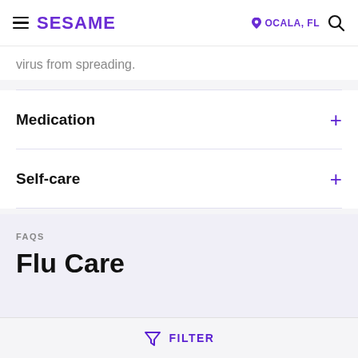SESAME  OCALA, FL
virus from spreading.
Medication
Self-care
FAQS
Flu Care
FILTER